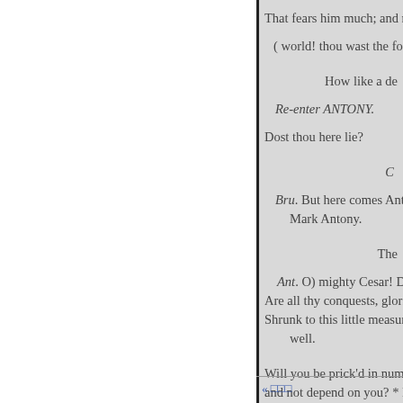That fears him much; and my mi
( world! thou wast the forest t
How like a de
Re-enter ANTONY.
Dost thou here lie?
C
Bru. But here comes Antony. Mark Antony.
The
Ant. O) mighty Cesar! Dos Are all thy conquests, glorie Shrunk to this little measure well.
Will you be prick'd in number and not depend on you? * In Ces
« □□□